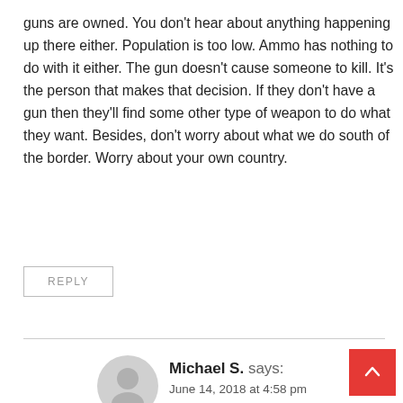guns are owned. You don't hear about anything happening up there either. Population is too low. Ammo has nothing to do with it either. The gun doesn't cause someone to kill. It's the person that makes that decision. If they don't have a gun then they'll find some other type of weapon to do what they want. Besides, don't worry about what we do south of the border. Worry about your own country.
REPLY
Michael S. says:
June 14, 2018 at 4:58 pm